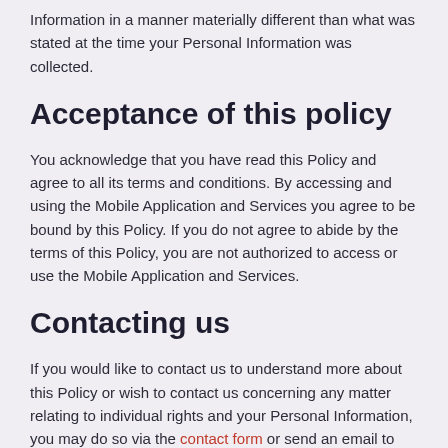Information in a manner materially different than what was stated at the time your Personal Information was collected.
Acceptance of this policy
You acknowledge that you have read this Policy and agree to all its terms and conditions. By accessing and using the Mobile Application and Services you agree to be bound by this Policy. If you do not agree to abide by the terms of this Policy, you are not authorized to access or use the Mobile Application and Services.
Contacting us
If you would like to contact us to understand more about this Policy or wish to contact us concerning any matter relating to individual rights and your Personal Information, you may do so via the contact form or send an email to info@arvisiongames.com.